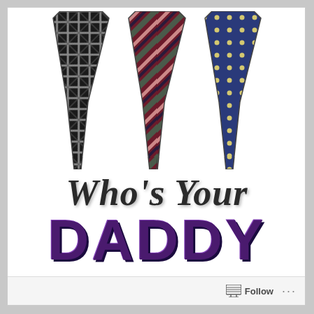[Figure (illustration): Three neckties displayed side by side: left tie has black and gray diagonal plaid pattern, center tie has dark red/maroon with gray and pink diagonal stripes, right tie is navy blue with small yellow/cream polka dots. Below the ties is decorative text reading 'Who's Your DADDY' with 'Who's Your' in dark cursive/script and 'DADDY' in large bold purple serif letters.]
Follow ...